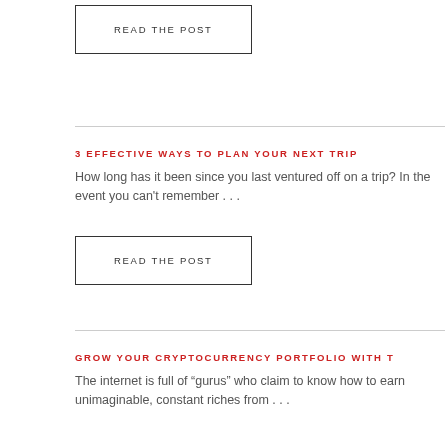READ THE POST
3 EFFECTIVE WAYS TO PLAN YOUR NEXT TRIP
How long has it been since you last ventured off on a trip? In the event you can't remember . . .
READ THE POST
GROW YOUR CRYPTOCURRENCY PORTFOLIO WITH T
The internet is full of “gurus” who claim to know how to earn unimaginable, constant riches from . . .